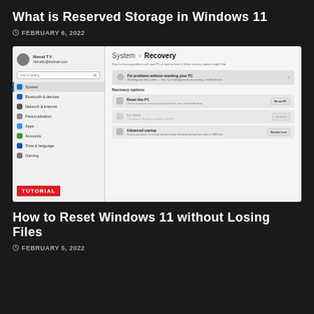What is Reserved Storage in Windows 11
FEBRUARY 6, 2022
[Figure (screenshot): Windows 11 Settings screenshot showing System > Recovery panel with options: Fix problems without resetting your PC, Recovery options including Reset this PC, Go back, and Advanced startup. Left sidebar shows navigation menu with System highlighted and a TUTORIAL badge.]
How to Reset Windows 11 without Losing Files
FEBRUARY 5, 2022